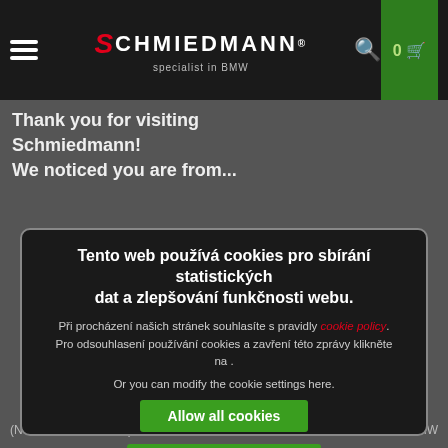Schmiedmann® – specialist in BMW
Thank you for visiting Schmiedmann!
We noticed you are from...
Tento web používá cookies pro sbírání statistických dat a zlepšování funkčnosti webu.
Při procházení našich stránek souhlasíte s pravidly cookie policy. Pro odsouhlasení používání cookies a zavření této zprávy klikněte na .
Or you can modify the cookie settings here.
Allow all cookies
Allow selected cookies
Required  Performance  Marketing  Functional  Show details